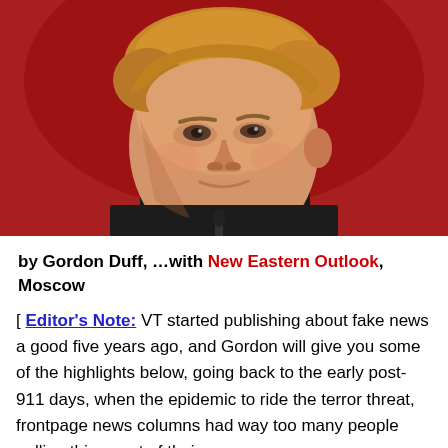[Figure (photo): Close-up photo of a man with blonde hair wearing a dark suit, white shirt and red tie, against a red background.]
by Gordon Duff, …with New Eastern Outlook, Moscow
[ Editor's Note: VT started publishing about fake news a good five years ago, and Gordon will give you some of the highlights below, going back to the early post-911 days, when the epidemic to ride the terror threat, frontpage news columns had way too many people pulling things out of their